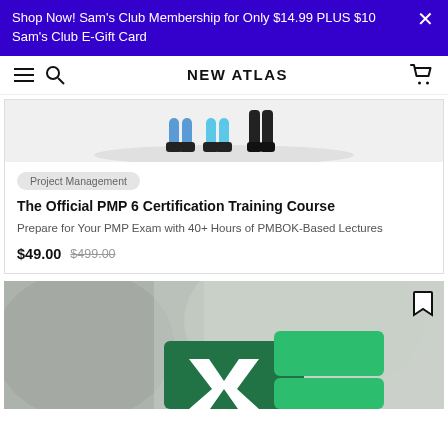Shop Now! Sam's Club Membership for Only $14.99 PLUS $10 Sam's Club E-Gift Card
NEW ATLAS
[Figure (illustration): Partial illustration of people's legs/feet standing on a grey oval shadow, part of a course product card image]
Project Management
The Official PMP 6 Certification Training Course
Prepare for Your PMP Exam with 40+ Hours of PMBOK-Based Lectures
$49.00 $499.00
[Figure (photo): Blurred background photo of people, with green Microsoft Excel logo overlay in the lower center, and a bookmark icon in the upper right corner]